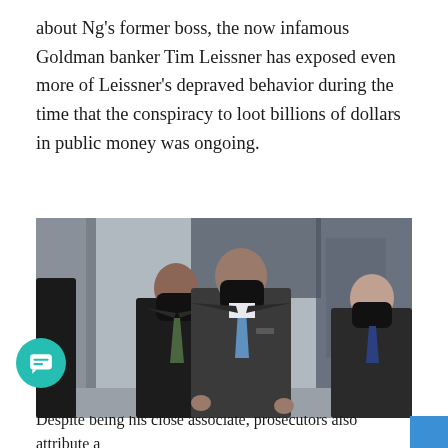about Ng's former boss, the now infamous Goldman banker Tim Leissner has exposed even more of Leissner's depraved behavior during the time that the conspiracy to loot billions of dollars in public money was ongoing.
[Figure (photo): Three men in dark suits and black face masks walking, likely entering or exiting a courthouse. The man in the center is taller and wearing a light blue tie. The man on the left has a green tie. The man on the right wears a dark tie.]
Despite being his close associate, prosecutors also attribute a